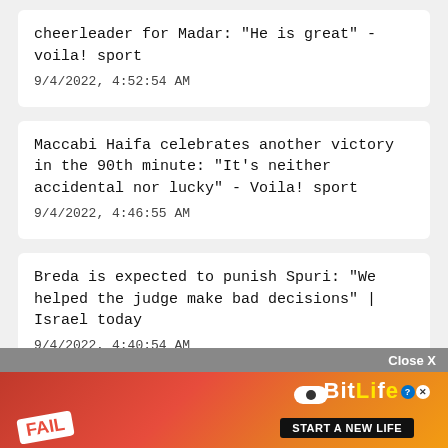cheerleader for Madar: "He is great" - voila! sport
9/4/2022, 4:52:54 AM
Maccabi Haifa celebrates another victory in the 90th minute: "It's neither accidental nor lucky" - Voila! sport
9/4/2022, 4:46:55 AM
Breda is expected to punish Spuri: "We helped the judge make bad decisions" | Israel today
9/4/2022, 4:40:54 AM
[Figure (screenshot): Advertisement banner for BitLife mobile game showing 'Close X' button, FAIL badge, cartoon character, flames, and 'START A NEW LIFE' text]